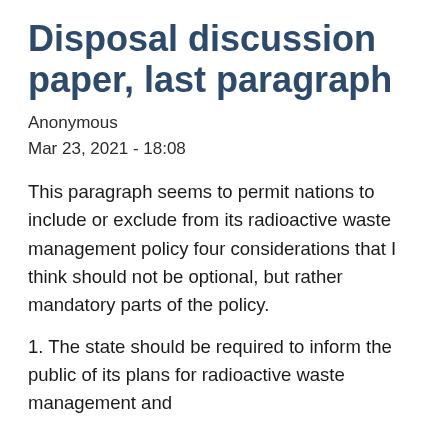Disposal discussion paper, last paragraph
Anonymous
Mar 23, 2021 - 18:08
This paragraph seems to permit nations to include or exclude from its radioactive waste management policy four considerations that I think should not be optional, but rather mandatory parts of the policy.
1. The state should be required to inform the public of its plans for radioactive waste management and